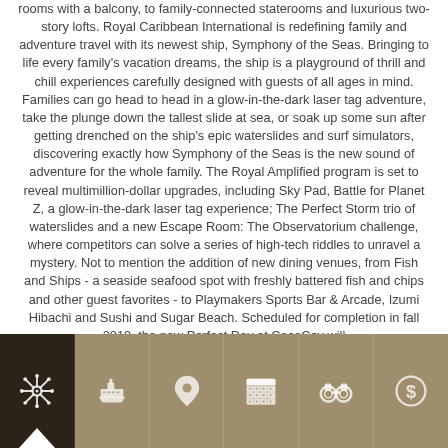rooms with a balcony, to family-connected staterooms and luxurious two-story lofts. Royal Caribbean International is redefining family and adventure travel with its newest ship, Symphony of the Seas. Bringing to life every family's vacation dreams, the ship is a playground of thrill and chill experiences carefully designed with guests of all ages in mind. Families can go head to head in a glow-in-the-dark laser tag adventure, take the plunge down the tallest slide at sea, or soak up some sun after getting drenched on the ship's epic waterslides and surf simulators, discovering exactly how Symphony of the Seas is the new sound of adventure for the whole family. The Royal Amplified program is set to reveal multimillion-dollar upgrades, including Sky Pad, Battle for Planet Z, a glow-in-the-dark laser tag experience; The Perfect Storm trio of waterslides and a new Escape Room: The Observatorium challenge, where competitors can solve a series of high-tech riddles to unravel a mystery. Not to mention the addition of new dining venues, from Fish and Ships - a seaside seafood spot with freshly battered fish and chips and other guest favorites - to Playmakers Sports Bar & Arcade, Izumi Hibachi and Sushi and Sugar Beach. Scheduled for completion in fall 2019, the new Perfect Day at CocoCay will
[Figure (other): Navigation bar with 6 icon cells: ship wheel (dark background, selected), cruise ship, location pin, calendar grid, binoculars, dollar circle. First cell has an upward arrow indicator.]